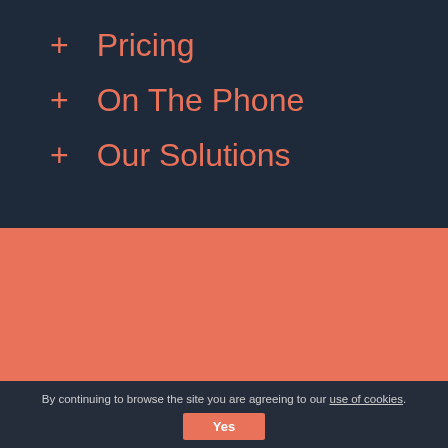+ Pricing
+ On The Phone
+ Our Solutions
Our Work
[Figure (other): Two white rectangular card placeholders side by side on salmon/coral background]
By continuing to browse the site you are agreeing to our use of cookies. Yes